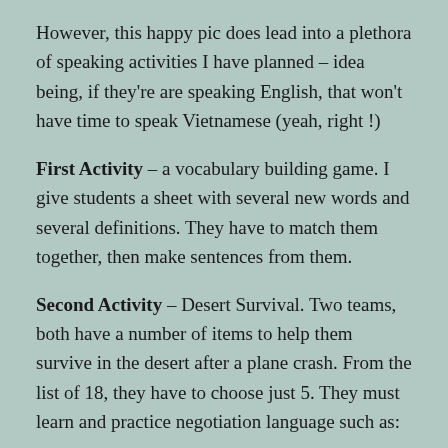However, this happy pic does lead into a plethora of speaking activities I have planned – idea being, if they're are speaking English, that won't have time to speak Vietnamese (yeah, right !)
First Activity – a vocabulary building game. I give students a sheet with several new words and several definitions. They have to match them together, then make sentences from them.
Second Activity – Desert Survival. Two teams, both have a number of items to help them survive in the desert after a plane crash. From the list of 18, they have to choose just 5. They must learn and practice negotiation language such as:
I see your point...